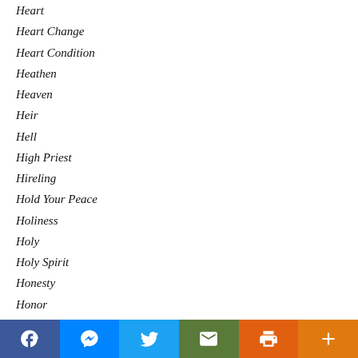Heart
Heart Change
Heart Condition
Heathen
Heaven
Heir
Hell
High Priest
Hireling
Hold Your Peace
Holiness
Holy
Holy Spirit
Honesty
Honor
Honor God